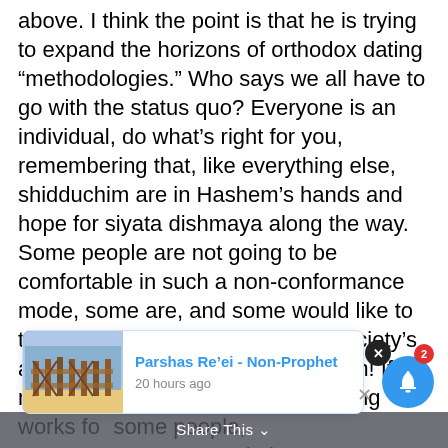above. I think the point is that he is trying to expand the horizons of orthodox dating “methodologies.” Who says we all have to go with the status quo? Everyone is an individual, do what’s right for you, remembering that, like everything else, shidduchim are in Hashem’s hands and hope for siyata dishmaya along the way. Some people are not going to be comfortable in such a non-conformance mode, some are, and some would like to try a different approach with our society’s approbations, so let’s give it to them! If the methodology R’ Harvey is suggesting works for some people, encouraging t commun has become so rigidly conformist. If you don’t
[Figure (screenshot): Notification card showing 'Parshas Re'ei - Non-Prophet' posted 20 hours ago with a thumbnail image of a fenced outdoor scene]
Share This